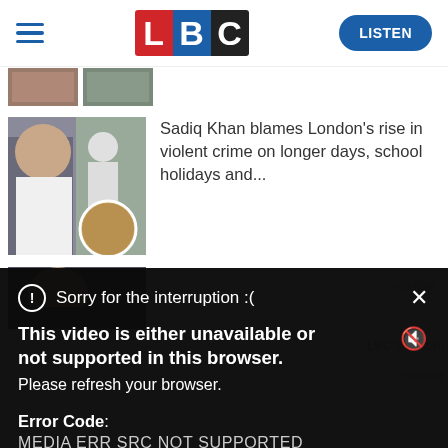[Figure (screenshot): LBC website header with hamburger menu, LBC logo (L in red, B in blue, C in black), and blue LISTEN button]
[Figure (photo): Partial thumbnail strip of news images at top]
[Figure (photo): Thumbnail image of Sadiq Khan and forensic scene investigation]
Sadiq Khan blames London's rise in violent crime on longer days, school holidays and...
[Figure (photo): Partial thumbnail of woman's face for third news article]
vid nile
[Figure (screenshot): Video error overlay modal with message: Sorry for the interruption :( and error details]
Sorry for the interruption :(
This video is either unavailable or not supported in this browser. Please refresh your browser.
Error Code: MEDIA ERR SRC NOT SUPPORTED
LBC's best m
rtom of